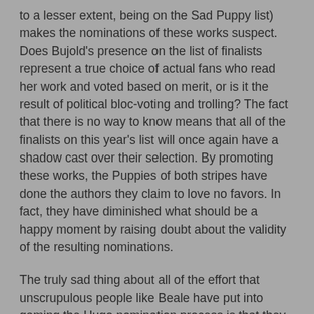to a lesser extent, being on the Sad Puppy list) makes the nominations of these works suspect. Does Bujold's presence on the list of finalists represent a true choice of actual fans who read her work and voted based on merit, or is it the result of political bloc-voting and trolling? The fact that there is no way to know means that all of the finalists on this year's list will once again have a shadow cast over their selection. By promoting these works, the Puppies of both stripes have done the authors they claim to love no favors. In fact, they have diminished what should be a happy moment by raising doubt about the validity of the resulting nominations.
The truly sad thing about all of the effort that unscrupulous people like Beale have put into gaming the Hugo nomination process is that they will never get what they want. The finalists who are "honored" by being selected by a partisan political faction will always face those who, quite justly, question the legitimacy of their presence on the ballot. If the goal of the Sad Pups was to recognize the works they thought were good, the way they have gone about doing so has made suspect the presence on the ballot of the works they think are good. In many cases, their efforts have